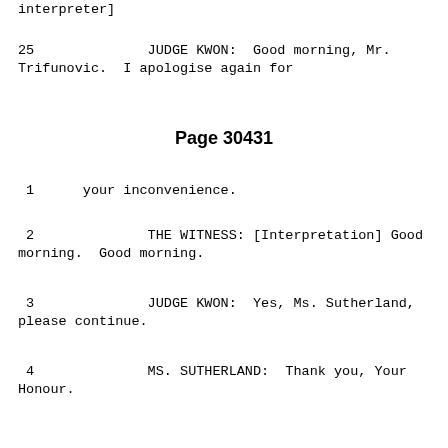interpreter]
25              JUDGE KWON:  Good morning, Mr. Trifunovic.  I apologise again for
Page 30431
1      your inconvenience.
2              THE WITNESS: [Interpretation] Good morning.  Good morning.
3              JUDGE KWON:  Yes, Ms. Sutherland, please continue.
4              MS. SUTHERLAND:  Thank you, Your Honour.